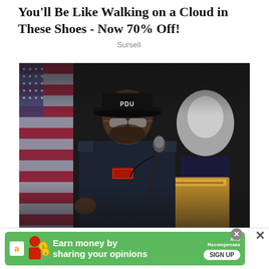You'll Be Like Walking on a Cloud in These Shoes - Now 70% Off!
Sursell
[Figure (photo): A police officer wearing a black cap labeled 'PDU' and sunglasses speaks at a podium with a microphone. An American flag is visible behind him to the left. A second person (face blurred) stands behind him to the right. The setting appears to be an indoor press conference or official event.]
[Figure (infographic): Advertisement banner: Green background with Amazon logo, icon of a person with coins, text 'Earn money by sharing your opinions', MiloRecompensas branding, and a 'SIGN UP' button. Close buttons in top right.]